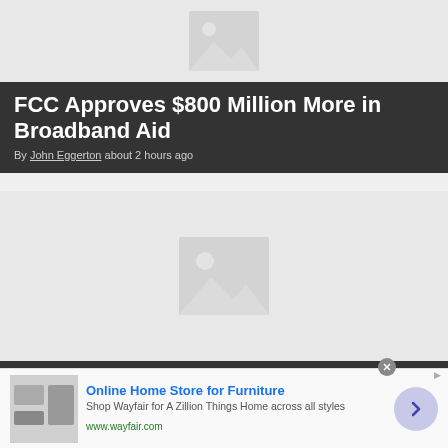[Figure (photo): Placeholder image (grey background with image icon) for article about FCC broadband aid]
FCC Approves $800 Million More in Broadband Aid
By John Eggerton about 2 hours ago
[Figure (photo): Placeholder image (grey background with image icon) for article about All Creatures Great and Small]
'All Creatures Great and Small' Season Three on PBS in January
Online Home Store for Furniture
Shop Wayfair for A Zillion Things Home across all styles
www.wayfair.com